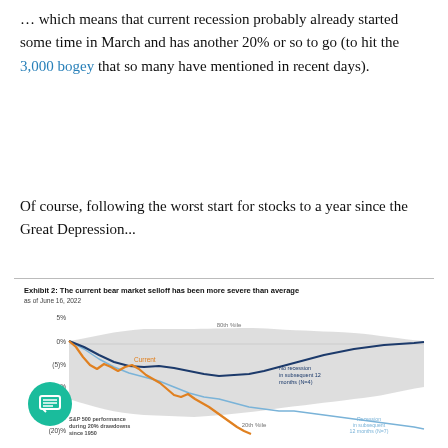… which means that current recession probably already started some time in March and has another 20% or so to go (to hit the 3,000 bogey that so many have mentioned in recent days).
Of course, following the worst start for stocks to a year since the Great Depression...
[Figure (continuous-plot): Line chart showing S&P 500 performance during 20% drawdowns since 1950. Shows 'Current' orange line declining sharply, dark blue 'No recession in subsequent 12 months (N=4)' line, light blue 'Recession in subsequent 12 months (N=7)' line, and gray shaded band for 20th to 80th percentile range. Y-axis from ~5% to ~(20)%, x-axis is time. As of June 16, 2022.]